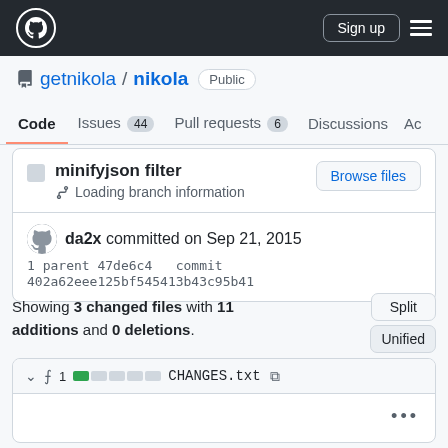GitHub navigation header with logo, Sign up button, and menu
getnikola / nikola  Public
Code  Issues 44  Pull requests 6  Discussions  Ac...
minifyjson filter
Loading branch information
Browse files
da2x committed on Sep 21, 2015
1 parent 47de6c4  commit 402a62eee125bf545413b43c95b41
Showing 3 changed files with 11 additions and 0 deletions.
Split
Unified
1   CHANGES.txt